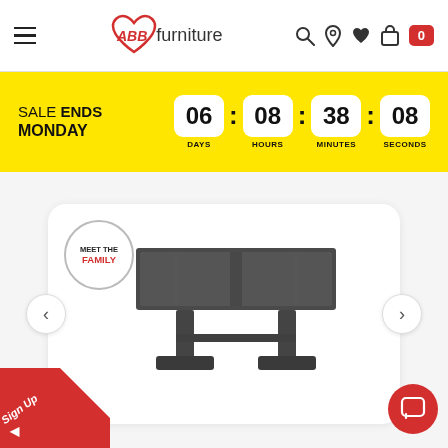[Figure (screenshot): ABB Furniture website header with hamburger menu, logo, and nav icons (search, location, heart, bag, cart badge showing 0)]
SALE ENDS MONDAY  06 : 08 : 38 : 08  DAYS  HOURS  MINUTES  SECONDS
[Figure (photo): Dark grey/charcoal rectangular dining table with double pedestal base on a white background. Overlaid with a 'Meet the Family' badge.]
Sign Up